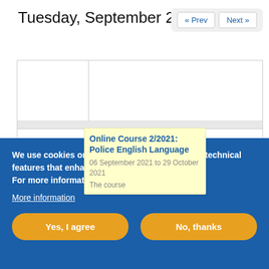Tuesday, September 28
[Figure (screenshot): Calendar navigation buttons: « Prev and Next »]
|  |  |
|  | Online Course 2/2021: Police English Language
06 September 2021 to 29 October 2021
The course |
We use cookies on CEPOL's website to support technical features that enhance our user experience.
For more information see our cookie policy.
More information
Yes, I agree
No, thanks